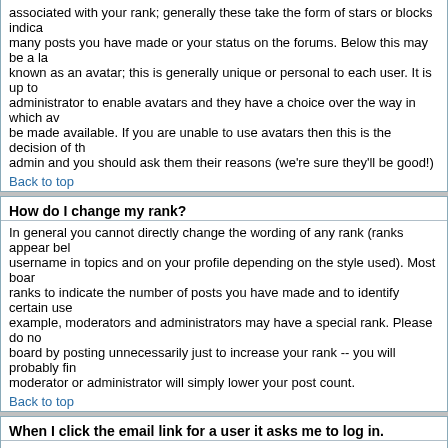associated with your rank; generally these take the form of stars or blocks indicating how many posts you have made or your status on the forums. Below this may be a larger image known as an avatar; this is generally unique or personal to each user. It is up to the administrator to enable avatars and they have a choice over the way in which avatars may be made available. If you are unable to use avatars then this is the decision of the admin and you should ask them their reasons (we're sure they'll be good!)
Back to top
How do I change my rank?
In general you cannot directly change the wording of any rank (ranks appear below your username in topics and on your profile depending on the style used). Most boards use ranks to indicate the number of posts you have made and to identify certain users, for example, moderators and administrators may have a special rank. Please do not abuse the board by posting unnecessarily just to increase your rank -- you will probably find a moderator or administrator will simply lower your post count.
Back to top
When I click the email link for a user it asks me to log in.
Sorry, but only registered users can send email to people via the built-in email form (if the admin has enabled this feature). This is to prevent malicious use of the email system by anonymous users.
Back to top
Posting Issues